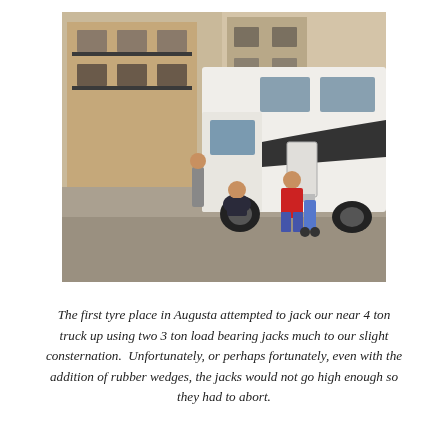[Figure (photo): Two people crouching beside a large white motorhome/camper van parked on a street. One person in a red jacket is working near the underside of the vehicle, and another person in dark clothing is crouching nearby. Buildings and a parked car are visible in the background.]
The first tyre place in Augusta attempted to jack our near 4 ton truck up using two 3 ton load bearing jacks much to our slight consternation.  Unfortunately, or perhaps fortunately, even with the addition of rubber wedges, the jacks would not go high enough so they had to abort.